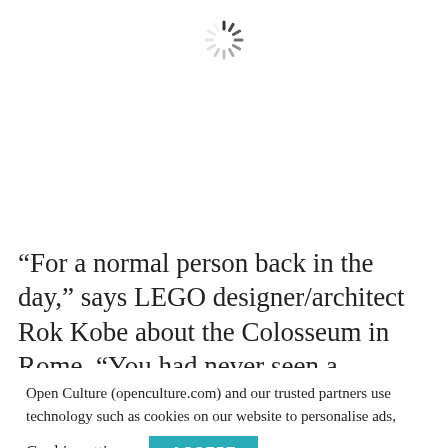[Figure (other): Loading spinner (circular dashed spinner icon) centered near top of page]
“For a normal person back in the day,” says LEGO designer/architect Rok Kobe about the Colosseum in Rome, “You had never seen a building that was sure...
Open Culture (openculture.com) and our trusted partners use technology such as cookies on our website to personalise ads, support social media features, and analyze our traffic. Please click below to consent to the use of this technology while browsing our site.
Cookie settings
ACCEPT